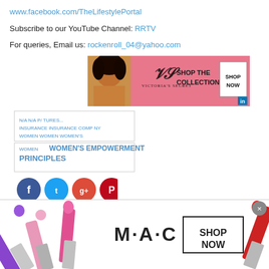www.facebook.com/TheLifestylePortal
Subscribe to our YouTube Channel: RRTV
For queries, Email us: rockenroll_04@yahoo.com
[Figure (photo): Victoria's Secret advertisement banner with a model, VS logo, SHOP THE COLLECTION text, and SHOP NOW button]
[Figure (infographic): Tag cloud with words including WOMEN'S EMPOWERMENT PRINCIPLES and INSURANCE COMPANY in blue text]
[Figure (infographic): Social media share buttons: Facebook, Twitter, Google+, Pinterest]
[Figure (photo): MAC Cosmetics advertisement banner with colorful lipsticks, MAC logo, SHOP NOW button, and close button]